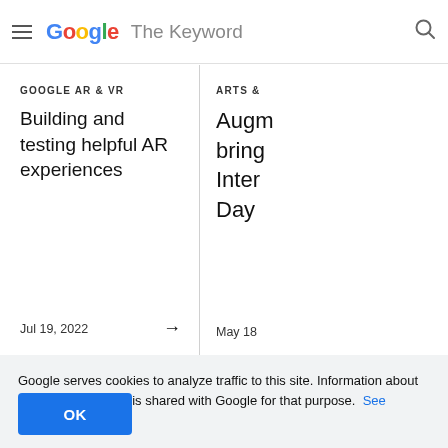Google The Keyword
GOOGLE AR & VR
Building and testing helpful AR experiences
Jul 19, 2022
ARTS &
Augm bring Inter Day
May 18
Google serves cookies to analyze traffic to this site. Information about your use of our site is shared with Google for that purpose. See details.